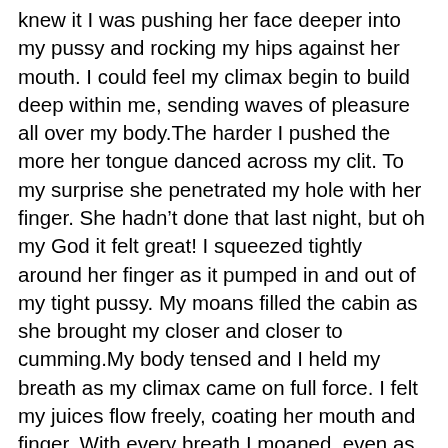knew it I was pushing her face deeper into my pussy and rocking my hips against her mouth. I could feel my climax begin to build deep within me, sending waves of pleasure all over my body.The harder I pushed the more her tongue danced across my clit. To my surprise she penetrated my hole with her finger. She hadn't done that last night, but oh my God it felt great! I squeezed tightly around her finger as it pumped in and out of my tight pussy. My moans filled the cabin as she brought my closer and closer to cumming.My body tensed and I held my breath as my climax came on full force. I felt my juices flow freely, coating her mouth and finger. With every breath I moaned, even as my peak subsided. She pulled my dress back down, and with a final kiss upon my hairy lips she covered my pussy and moved up my body. She kissed my tummy and lightly flicked my nipples with her tongue before she pressed her lips to mine and kissed me deeply. Both our juices mixed in our mouths and the scent filled the cabin.As we lay on the bench seat she looked at me and smiled. “Now, babe